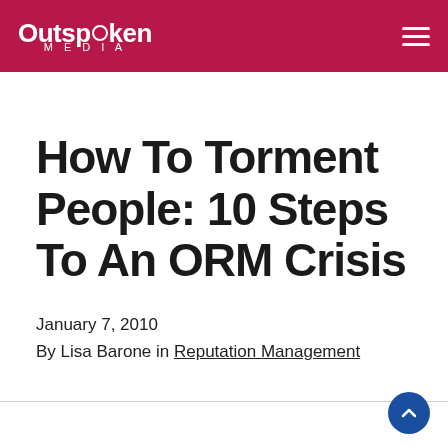Outspoken MEDIA
How To Torment People: 10 Steps To An ORM Crisis
January 7, 2010
By Lisa Barone in Reputation Management